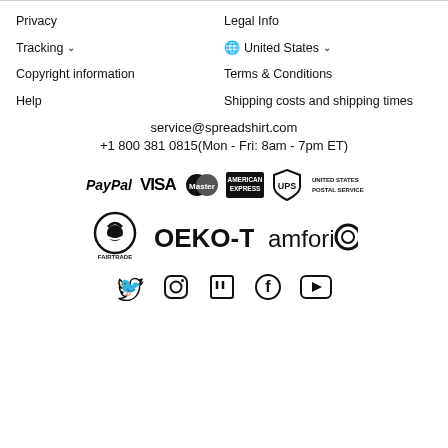Privacy
Legal Info
Tracking ▾
🌐 United States ▾
Copyright information
Terms & Conditions
Help
Shipping costs and shipping times
service@spreadshirt.com
+1 800 381 0815(Mon - Fri: 8am - 7pm ET)
[Figure (logo): Payment logos: PayPal, VISA, MasterCard, American Express, UPS, United States Postal Service]
[Figure (logo): Certification logos: Fairtrade, OEKO-TEX®, amfori]
[Figure (logo): Social media icons: Twitter, Instagram, Twitch, Facebook, YouTube]